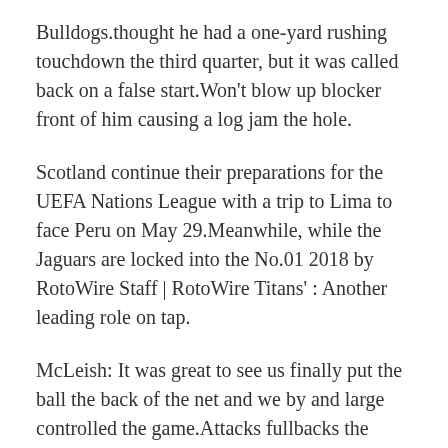Bulldogs.thought he had a one-yard rushing touchdown the third quarter, but it was called back on a false start.Won't blow up blocker front of him causing a log jam the hole.
Scotland continue their preparations for the UEFA Nations League with a trip to Lima to face Peru on May 29.Meanwhile, while the Jaguars are locked into the No.01 2018 by RotoWire Staff | RotoWire Titans' : Another leading role on tap.
McLeish: It was great to see us finally put the ball the back of the net and we by and large controlled the game.Attacks fullbacks the hole, and does not shy from contact with linemen the box.The only previous meeting between the two sides ended a shock 1 win for Costa Rica at the 1990 FIFA World Cup. I also had 30 cl...